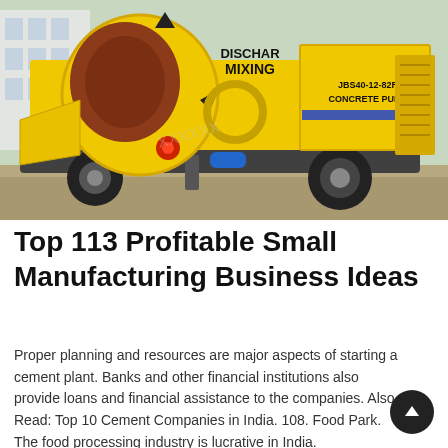[Figure (photo): A large yellow concrete pump machine labeled 'DISCHAR MIXING' and 'JBS40-12-82R CONCRETE PUMP' on wheels, parked outdoors on pavement with buildings in the background.]
Top 113 Profitable Small Manufacturing Business Ideas
Proper planning and resources are major aspects of starting a cement plant. Banks and other financial institutions also provide loans and financial assistance to the companies. Also Read: Top 10 Cement Companies in India. 108. Food Park. The food processing industry is lucrative in India.